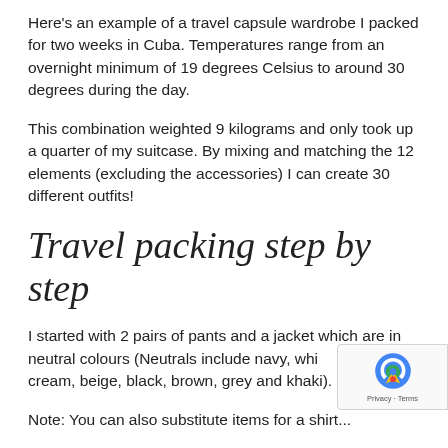Here's an example of a travel capsule wardrobe I packed for two weeks in Cuba. Temperatures range from an overnight minimum of 19 degrees Celsius to around 30 degrees during the day.
This combination weighted 9 kilograms and only took up a quarter of my suitcase. By mixing and matching the 12 elements (excluding the accessories) I can create 30 different outfits!
Travel packing step by step
I started with 2 pairs of pants and a jacket which are in neutral colours (Neutrals include navy, white, cream, beige, black, brown, grey and khaki).
Note: You can also substitute items for a shirt...